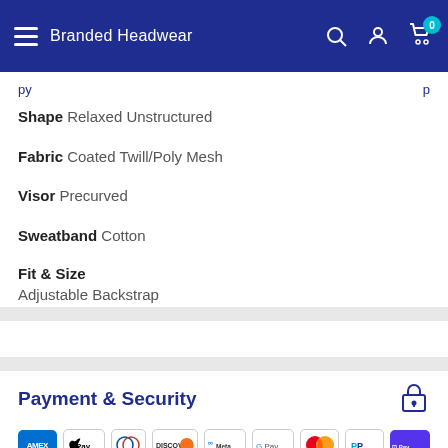Branded Headwear
Shape Relaxed Unstructured
Fabric Coated Twill/Poly Mesh
Visor Precurved
Sweatband Cotton
Fit & Size
Adjustable Backstrap
Payment & Security
[Figure (other): Payment method icons: American Express, Apple Pay, Diners Club, Discover, Meta Pay, Google Pay, Mastercard, PayPal, Shop Pay]